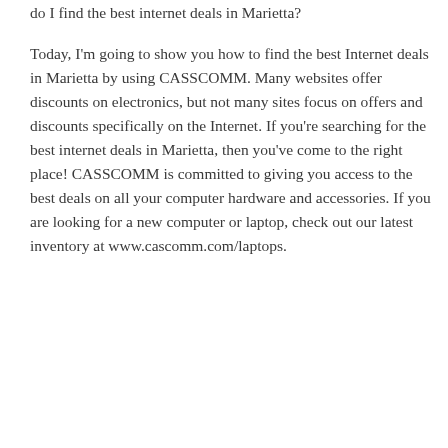do I find the best internet deals in Marietta?
Today, I'm going to show you how to find the best Internet deals in Marietta by using CASSCOMM. Many websites offer discounts on electronics, but not many sites focus on offers and discounts specifically on the Internet. If you're searching for the best internet deals in Marietta, then you've come to the right place! CASSCOMM is committed to giving you access to the best deals on all your computer hardware and accessories. If you are looking for a new computer or laptop, check out our latest inventory at www.cascomm.com/laptops.